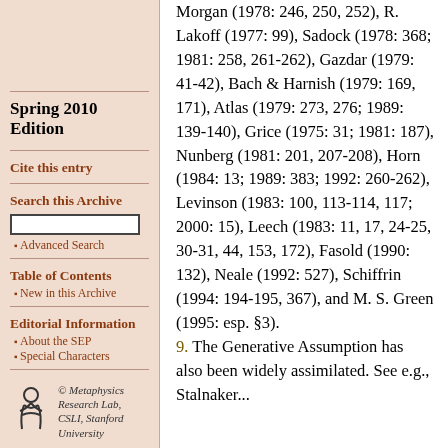Spring 2010 Edition
Cite this entry
Search this Archive
Advanced Search
Table of Contents
New in this Archive
Editorial Information
About the SEP
Special Characters
[Figure (logo): Metaphysics Research Lab, CSLI, Stanford University logo with stylized figure]
Morgan (1978: 246, 250, 252), R. Lakoff (1977: 99), Sadock (1978: 368; 1981: 258, 261-262), Gazdar (1979: 41-42), Bach & Harnish (1979: 169, 171), Atlas (1979: 273, 276; 1989: 139-140), Grice (1975: 31; 1981: 187), Nunberg (1981: 201, 207-208), Horn (1984: 13; 1989: 383; 1992: 260-262), Levinson (1983: 100, 113-114, 117; 2000: 15), Leech (1983: 11, 17, 24-25, 30-31, 44, 153, 172), Fasold (1990: 132), Neale (1992: 527), Schiffrin (1994: 194-195, 367), and M. S. Green (1995: esp. §3).
9. The Generative Assumption has also been widely assimilated. See e.g., Stalnaker...